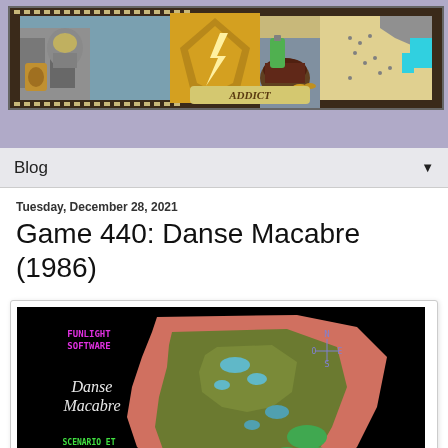CRPG Addict (blog banner with fantasy RPG imagery and map)
Blog ▼
Tuesday, December 28, 2021
Game 440: Danse Macabre (1986)
[Figure (screenshot): Game screenshot showing black background with pink/terracotta map of Britain, dark olive landmass details, text reading 'FUNLIGHT SOFTWARE', 'Danse Macabre' in stylized font, 'SCENARIO ET PROGRAMMATION: JEROME NOIREZ', and a compass rose in the upper right.]